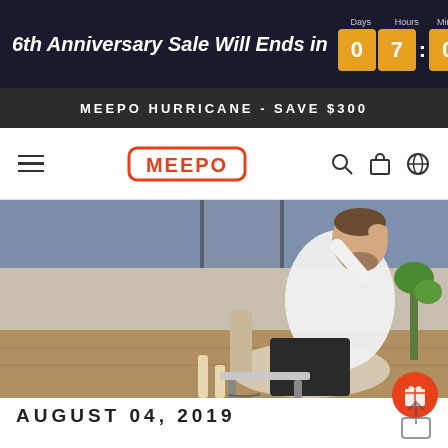6th Anniversary Sale Will Ends in 07 : 08 : 45 : 04 (Days, Hours, Minutes, Seconds)
MEEPO HURRICANE - SAVE $300
[Figure (logo): MEEPO brand logo in red and white with hamburger menu, search, cart, and globe icons]
[Figure (photo): Man in white shirt and black trousers sitting in a beige armchair, resting his head on his hand, in a modern office/lounge setting]
AUGUST 04, 2019